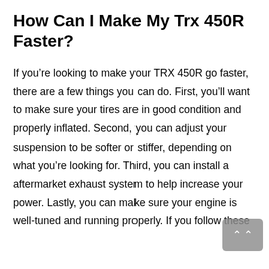How Can I Make My Trx 450R Faster?
If you’re looking to make your TRX 450R go faster, there are a few things you can do. First, you’ll want to make sure your tires are in good condition and properly inflated. Second, you can adjust your suspension to be softer or stiffer, depending on what you’re looking for. Third, you can install a aftermarket exhaust system to help increase your power. Lastly, you can make sure your engine is well-tuned and running properly. If you follow these